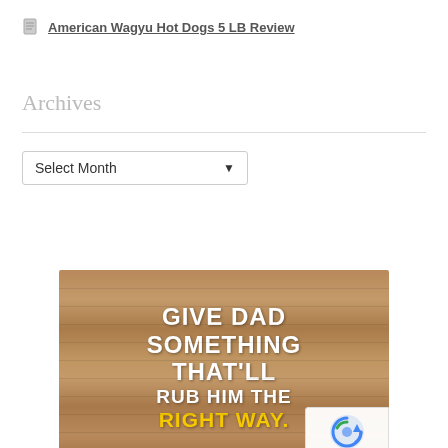American Wagyu Hot Dogs 5 LB Review
Archives
[Figure (infographic): Advertisement image on a wood-grain background with bold white text: GIVE DAD SOMETHING THAT'LL RUB HIM THE and yellow bold text: RIGHT WAY.]